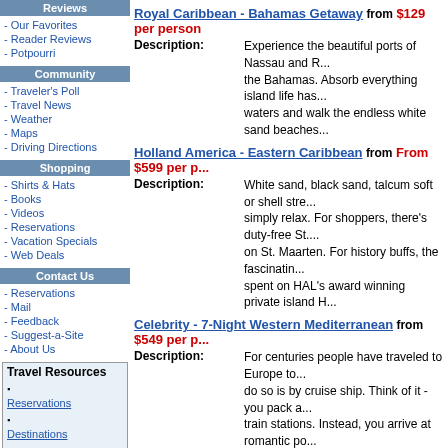Reviews
- Our Favorites
- Reader Reviews
- Potpourri
Community
- Traveler's Poll
- Travel News
- Weather
- Maps
- Driving Directions
Shopping
- Shirts & Hats
- Books
- Videos
- Reservations
- Vacation Specials
- Web Deals
Contact Us
- Reservations
- Mail
- Feedback
- Suggest-a-Site
- About Us
Travel Resources
Reservations
Destinations
Hotels
Air Travel
Cruise Travel
News/Weather
Royal Caribbean - Bahamas Getaway from $129 per person
Description: Experience the beautiful ports of Nassau and R... the Bahamas. Absorb everything island life has... waters and walk the endless white sand beaches...
Holland America - Eastern Caribbean from From $599 per p...
Description: White sand, black sand, talcum soft or shell stre... simply relax. For shoppers, there's duty-free St.... on St. Maarten. For history buffs, the fascinatin... spent on HAL's award winning private island H...
Celebrity - 7-Night Western Mediterranean from $549 per p...
Description: For centuries people have traveled to Europe to... do so is by cruise ship. Think of it - you pack a... train stations. Instead, you arrive at romantic po...
More Vacation a...